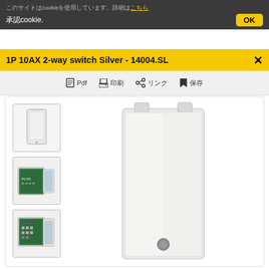このサイトはcookieを使用しています。詳細はこちら
承認cookie.
1P 10AX 2-way switch Silver - 14004.SL
Pdf  印刷  リンク  保存
[Figure (photo): Product page for 1P 10AX 2-way switch Silver (14004.SL) showing three thumbnail images on the left: front view of white switch module, back/PCB view with green circuit board labeled PLIVI, and another PCB/component view. Main large image shows the white switch module from the front with a small circular indicator near the bottom.]